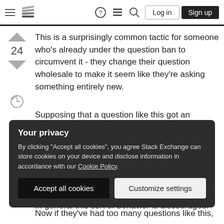Stack Exchange navigation bar with hamburger menu, logo, help, chat, search icons, Log in and Sign up buttons
This is a surprisingly common tactic for someone who's already under the question ban to circumvent it - they change their question wholesale to make it seem like they're asking something entirely new.
Supposing that a question like this got an answer, what would happen if an OP decided to change their question again to something else? It'd invalidate all of the existing answers.
In general this sort of behavior is discouraged.
Your privacy
By clicking "Accept all cookies", you agree Stack Exchange can store cookies on your device and disclose information in accordance with our Cookie Policy.
Accept all cookies  Customize settings
Now if they've had too many questions like this,